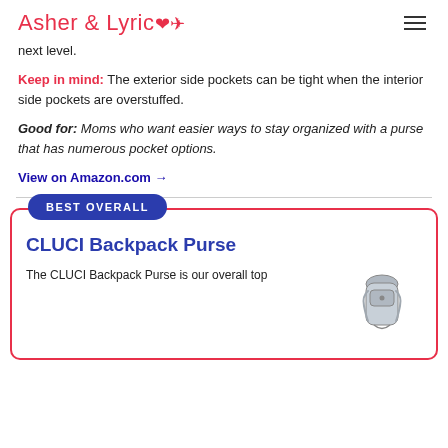Asher & Lyric
next level.
Keep in mind: The exterior side pockets can be tight when the interior side pockets are overstuffed.
Good for: Moms who want easier ways to stay organized with a purse that has numerous pocket options.
View on Amazon.com →
BEST OVERALL
CLUCI Backpack Purse
The CLUCI Backpack Purse is our overall top